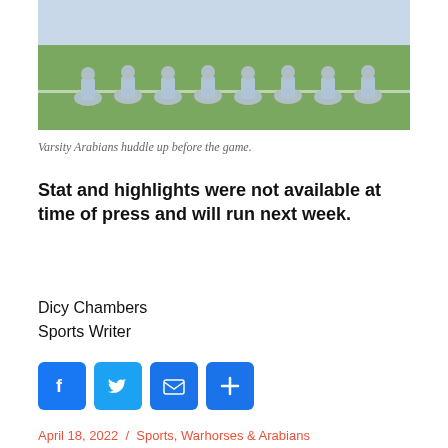[Figure (photo): Varsity Arabians baseball/softball team players kneeling in a huddle on a green grass field before a game, wearing light blue uniforms.]
Varsity Arabians huddle up before the game.
Stat and highlights were not available at time of press and will run next week.
Dicy Chambers
Sports Writer
[Figure (infographic): Social sharing icons: Facebook, Twitter, Email, Share (plus sign)]
April 18, 2022  /  Sports, Warhorses & Arabians